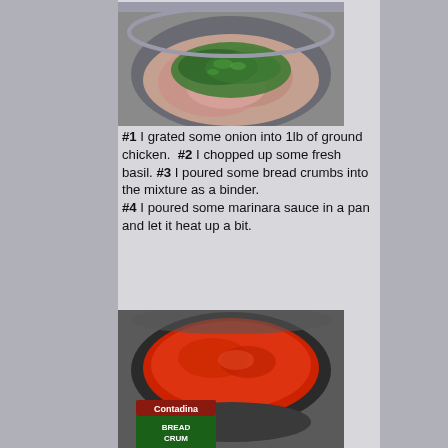[Figure (photo): Raw ground chicken in a metal bowl with chopped fresh basil on top]
#1 I grated some onion into 1lb of ground chicken.  #2 I chopped up some fresh basil. #3 I poured some bread crumbs into the mixture as a binder.
#4 I poured some marinara sauce in a pan and let it heat up a bit.
[Figure (photo): A pan with red marinara sauce heating on a stove, with a Contadina Bread Crumbs can visible in the foreground]